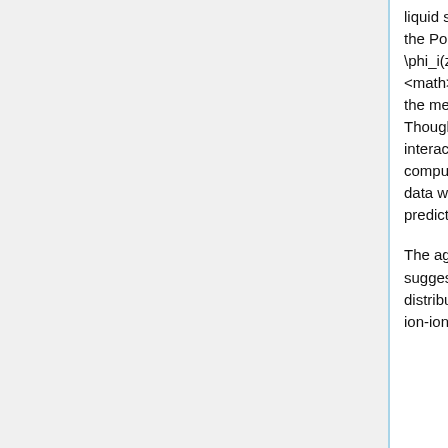liquid structure in the calculation by using the correct energy in the Poisson-Boltzmann equation, <math>E_i(z) = e_i(z) \phi_i(z) + f_i(z)</math>. A model for the free energy profile <math>f_i(z)</math> was found by calculating the potential of the mean force through molecular dynamics (MD) simulations. Though the true energy should take into account ion-ion interaction, the authors did not take this into account due to computational restrictions. Figure 1 shows the X-ray reflectivity data with Gouy-Chapman predictions as well as the new predictions.
The agreement between the authors' model and the data suggest that liquid structure does indeed change the ion distributions. Furthermore, the agreement also indicates that ion-ion